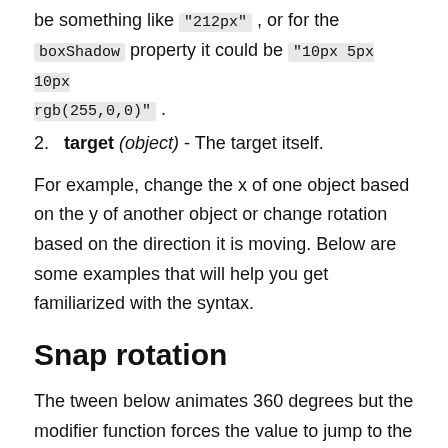be something like "212px", or for the boxShadow property it could be "10px 5px 10px rgb(255,0,0)".
2. target (object) - The target itself.
For example, change the x of one object based on the y of another object or change rotation based on the direction it is moving. Below are some examples that will help you get familiarized with the syntax.
Snap rotation
The tween below animates 360 degrees but the modifier function forces the value to jump to the closest 45-degree increment. Take note how the modifier function gets passed the value of the property that is being modified, in this case a rotation number. This is a good example of the ModifiersPlugin, but as of GSAP 3